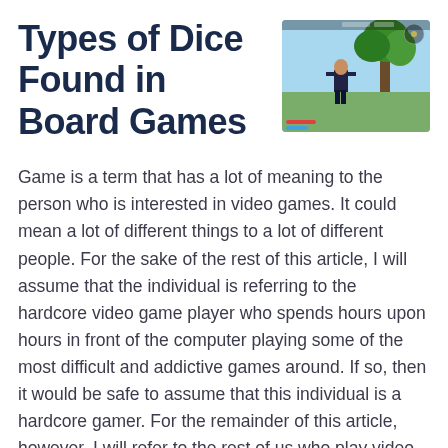Types of Dice Found in Board Games
[Figure (screenshot): Screenshot of a video game showing a character standing outdoors near a tree with a game UI overlay.]
Game is a term that has a lot of meaning to the person who is interested in video games. It could mean a lot of different things to a lot of different people. For the sake of the rest of this article, I will assume that the individual is referring to the hardcore video game player who spends hours upon hours in front of the computer playing some of the most difficult and addictive games around. If so, then it would be safe to assume that this individual is a hardcore gamer. For the remainder of this article, however, I will refer to the rest of us who play video games for fun.
We all know that the object of any video game is to kill as many enemies as possible and/or enjoy the